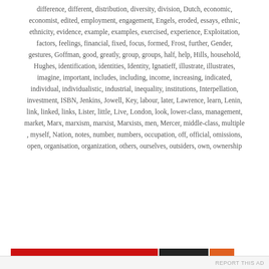difference, different, distribution, diversity, division, Dutch, economic, economist, edited, employment, engagement, Engels, eroded, essays, ethnic, ethnicity, evidence, example, examples, exercised, experience, Exploitation, factors, feelings, financial, fixed, focus, formed, Frost, further, Gender, gestures, Goffman, good, greatly, group, groups, half, help, Hills, household, Hughes, identification, identities, Identity, Ignatieff, illustrate, illustrates, imagine, important, includes, including, income, increasing, indicated, individual, individualistic, industrial, inequality, institutions, Interpellation, investment, ISBN, Jenkins, Jowell, Key, labour, later, Lawrence, learn, Lenin, link, linked, links, Lister, little, Live, London, look, lower-class, management, market, Marx, marxism, marxist, Marxists, men, Mercer, middle-class, multiple, myself, Nation, notes, number, numbers, occupation, off, official, omissions, open, organisation, organization, others, ourselves, outsiders, own, ownership
Privacy & Cookies: This site uses cookies. By continuing to use this website, you agree to their use.
To find out more, including how to control cookies, see here:
Cookie Policy
Close and accept